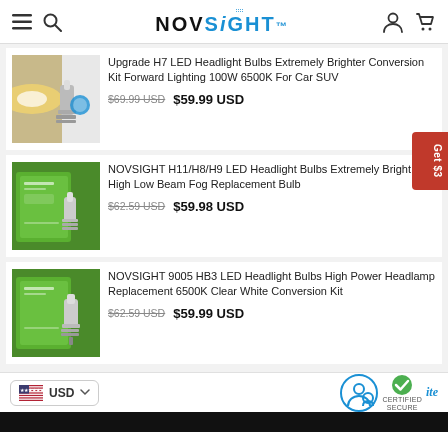NOVSIGHT
[Figure (photo): Thumbnail of H7 LED headlight bulbs with yellow/white beam and silver heatsink]
Upgrade H7 LED Headlight Bulbs Extremely Brighter Conversion Kit Forward Lighting 100W 6500K For Car SUV
$69.99 USD  $59.99 USD
[Figure (photo): Thumbnail of H11/H8/H9 LED headlight bulbs in green box with silver bulb]
NOVSIGHT H11/H8/H9 LED Headlight Bulbs Extremely Bright High Low Beam Fog Replacement Bulb
$62.59 USD  $59.98 USD
[Figure (photo): Thumbnail of 9005 HB3 LED headlight bulbs in green box with silver bulb]
NOVSIGHT 9005 HB3 LED Headlight Bulbs High Power Headlamp Replacement 6500K Clear White Conversion Kit
$62.59 USD  $59.99 USD
USD — Currency selector, Trusted site certified secure badge